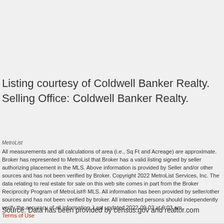Listing courtesy of Coldwell Banker Realty. Selling Office: Coldwell Banker Realty.
MetroList
All measurements and all calculations of area (i.e., Sq Ft and Acreage) are approximate. Broker has represented to MetroList that Broker has a valid listing signed by seller authorizing placement in the MLS. Above information is provided by Seller and/or other sources and has not been verified by Broker. Copyright 2022 MetroList Services, Inc. The data relating to real estate for sale on this web site comes in part from the Broker Reciprocity Program of MetroList® MLS. All information has been provided by seller/other sources and has not been verified by broker. All interested persons should independently verify the accuracy of all information. Last updated 2022-09-03 at 9:03 am. Terms of Use
Source: Data has been provided by census.gov and realtor.com